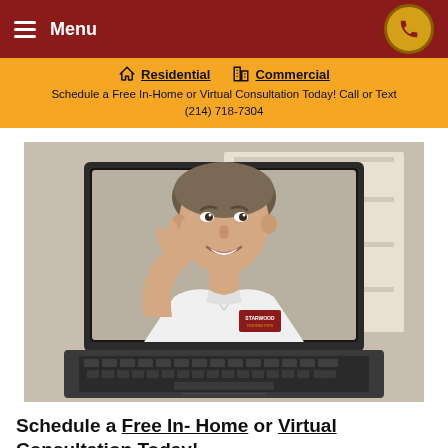Menu
Residential  Commercial
Schedule a Free In-Home or Virtual Consultation Today! Call or Text (214) 718-7304
[Figure (photo): A smiling man in a white Starwood polo shirt waving from inside a laptop screen, as if on a video call. Behind him are white shelving units with storage boxes. The laptop keyboard is visible in the foreground.]
Schedule a Free In-Home or Virtual Consultation Today!